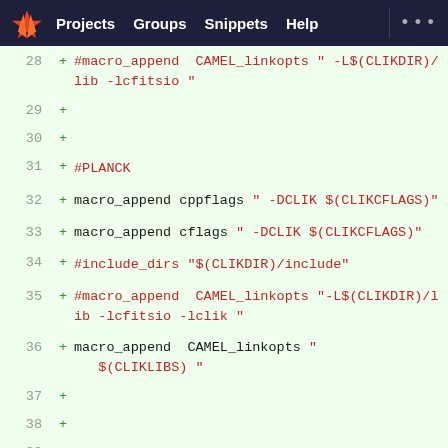GitLab navigation: Projects | Groups | Snippets | Help
[Figure (screenshot): GitLab code diff viewer showing lines 28-40 of a CMake/build configuration file with added lines (green background) containing macro_append and include_dirs directives for CAMEL, CLIK, PLANCK, and PICO libraries]
28  + #macro_append  CAMEL_linkopts " -L$(CLIKDIR)/lib -lcfitsio "
29  +
30  +
31  + #PLANCK
32  + macro_append cppflags " -DCLIK $(CLIKCFLAGS)"
33  + macro_append cflags " -DCLIK $(CLIKCFLAGS)"
34  + #include_dirs "$(CLIKDIR)/include"
35  + #macro_append  CAMEL_linkopts "-L$(CLIKDIR)/lib -lcfitsio -lclik "
36  + macro_append  CAMEL_linkopts " $(CLIKLIBS) "
37  +
38  +
39  + # PICO
40  + include_dirs "/usr/local/python/python-2.7/include/python2.7"